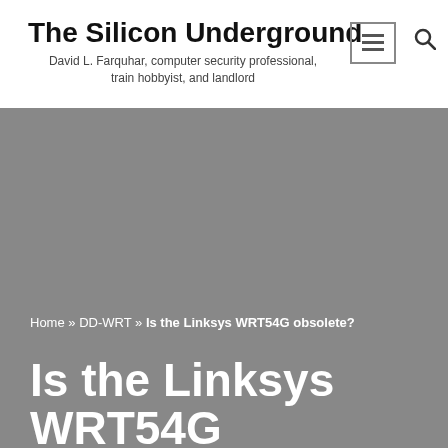The Silicon Underground
David L. Farquhar, computer security professional, train hobbyist, and landlord
Home » DD-WRT » Is the Linksys WRT54G obsolete?
Is the Linksys WRT54G obsolete?
BY DAVE FARQUHAR  /